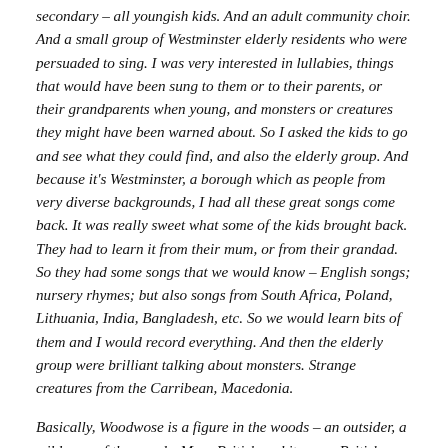secondary – all youngish kids. And an adult community choir. And a small group of Westminster elderly residents who were persuaded to sing. I was very interested in lullabies, things that would have been sung to them or to their parents, or their grandparents when young, and monsters or creatures they might have been warned about. So I asked the kids to go and see what they could find, and also the elderly group. And because it's Westminster, a borough which as people from very diverse backgrounds, I had all these great songs come back. It was really sweet what some of the kids brought back. They had to learn it from their mum, or from their grandad. So they had some songs that we would know – English songs; nursery rhymes; but also songs from South Africa, Poland, Lithuania, India, Bangladesh, etc. So we would learn bits of them and I would record everything. And then the elderly group were brilliant talking about monsters. Strange creatures from the Carribean, Macedonia.
Basically, Woodwose is a figure in the woods – an outsider, a wild man of the woods. More British and it was a British …